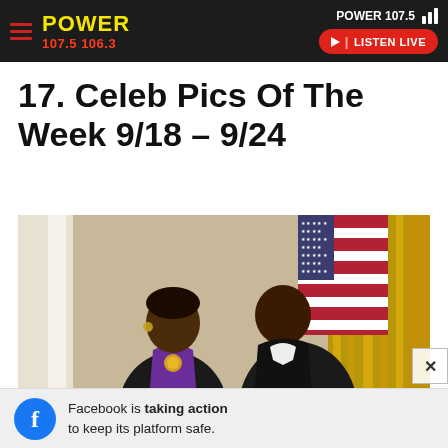POWER 107.5 | LISTEN LIVE
17. Celeb Pics Of The Week 9/18 – 9/24
[Figure (photo): Two people shaking hands at a formal event with an American flag in the background. One person wears a purple collar with a medal. Appears to be a White House ceremony.]
Facebook is taking action to keep its platform safe.